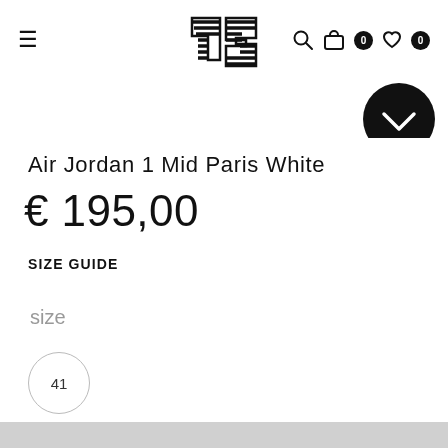≡ [Logo] 🔍 🛒 0 ♡ 0
[Figure (logo): Stylized 'TS' logo with diagonal stripes, bold geometric design]
Air Jordan 1 Mid Paris White
€ 195,00
SIZE GUIDE
size
41